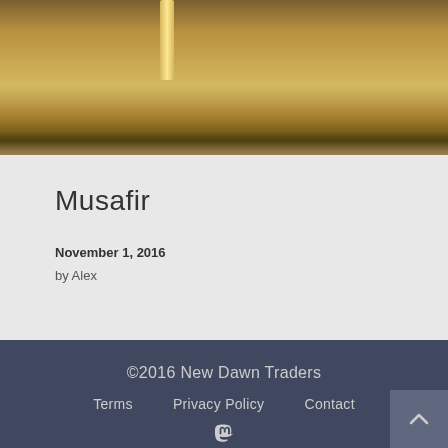[Figure (photo): Close-up photo of wrapped/covered cylindrical pipes or tubes with a golden-brown fabric or material, with light reflecting off a metallic surface]
Musafir
November 1, 2016
by Alex
©2016 New Dawn Traders  Terms  Privacy Policy  Contact
[Figure (logo): Mastodon social media icon]